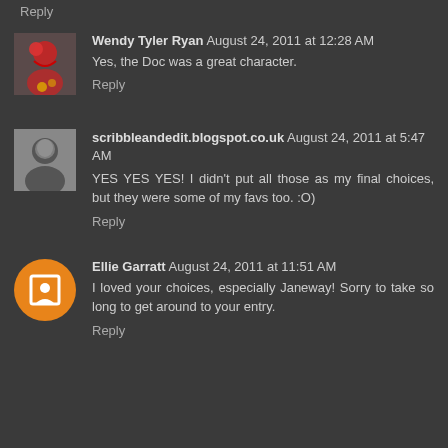Reply
Wendy Tyler Ryan August 24, 2011 at 12:28 AM
Yes, the Doc was a great character.
Reply
scribbleandedit.blogspot.co.uk August 24, 2011 at 5:47 AM
YES YES YES! I didn't put all those as my final choices, but they were some of my favs too. :O)
Reply
Ellie Garratt August 24, 2011 at 11:51 AM
I loved your choices, especially Janeway! Sorry to take so long to get around to your entry.
Reply